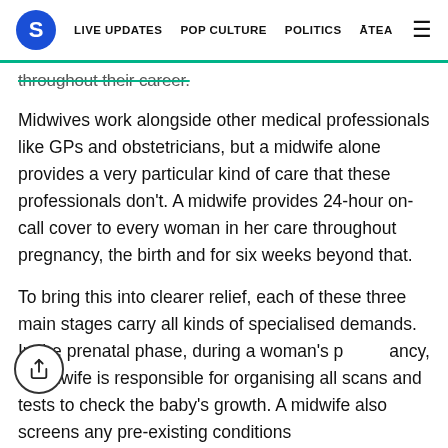S  LIVE UPDATES  POP CULTURE  POLITICS  ĀTEA  ≡
throughout their career.
Midwives work alongside other medical professionals like GPs and obstetricians, but a midwife alone provides a very particular kind of care that these professionals don't. A midwife provides 24-hour on-call cover to every woman in her care throughout pregnancy, the birth and for six weeks beyond that.
To bring this into clearer relief, each of these three main stages carry all kinds of specialised demands. In the prenatal phase, during a woman's pregnancy, a midwife is responsible for organising all scans and tests to check the baby's growth. A midwife also screens any pre-existing conditions